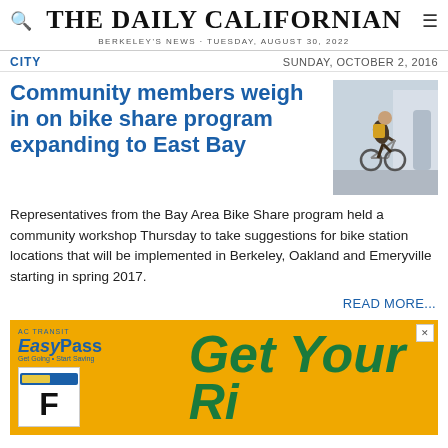THE DAILY CALIFORNIAN
BERKELEY'S NEWS · TUESDAY, AUGUST 30, 2022
CITY
SUNDAY, OCTOBER 2, 2016
Community members weigh in on bike share program expanding to East Bay
[Figure (photo): Person riding a bicycle on a street]
Representatives from the Bay Area Bike Share program held a community workshop Thursday to take suggestions for bike station locations that will be implemented in Berkeley, Oakland and Emeryville starting in spring 2017.
READ MORE...
[Figure (other): AC Transit EasyPass advertisement with orange background showing 'Get Your' in green italic text and a card with letter F on the left side]